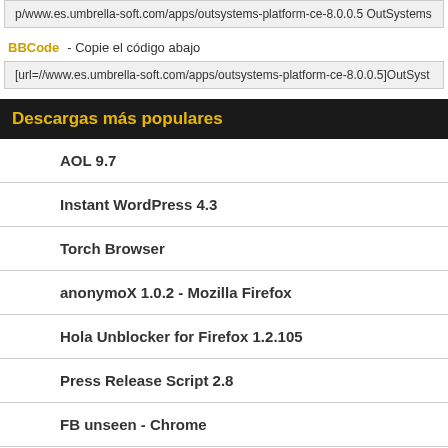p/www.es.umbrella-soft.com/apps/outsystems-platform-ce-8.0.0.5 OutSystems
BBCode - Copie el código abajo
[url=//www.es.umbrella-soft.com/apps/outsystems-platform-ce-8.0.0.5]OutSyst
Descargas más populares
AOL 9.7
Instant WordPress 4.3
Torch Browser
anonymoX 1.0.2 - Mozilla Firefox
Hola Unblocker for Firefox 1.2.105
Press Release Script 2.8
FB unseen - Chrome
We Heart It 3.1.0
Opera Browser 12.14